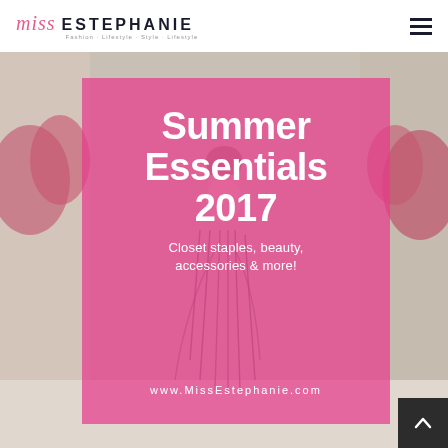miss Estephanie
[Figure (photo): Outdoor background photo with a woman in a striped dress and pink flowers/hedges. Semi-transparent pink overlay box in the center.]
Summer Essentials 2017
Closet staples, beauty, accessories & more!
www.MissEstephanie.com